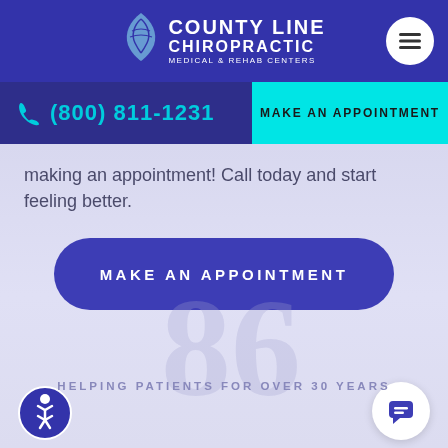County Line Chiropractic Medical & Rehab Centers
(800) 811-1231
MAKE AN APPOINTMENT
making an appointment! Call today and start feeling better.
MAKE AN APPOINTMENT
HELPING PATIENTS FOR OVER 30 YEARS